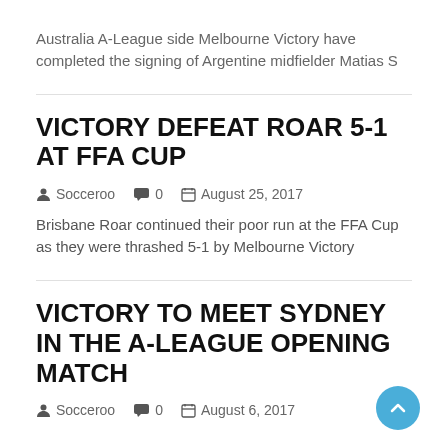Australia A-League side Melbourne Victory have completed the signing of Argentine midfielder Matias S
VICTORY DEFEAT ROAR 5-1 AT FFA CUP
Socceroo  0  August 25, 2017
Brisbane Roar continued their poor run at the FFA Cup as they were thrashed 5-1 by Melbourne Victory
VICTORY TO MEET SYDNEY IN THE A-LEAGUE OPENING MATCH
Socceroo  0  August 6, 2017